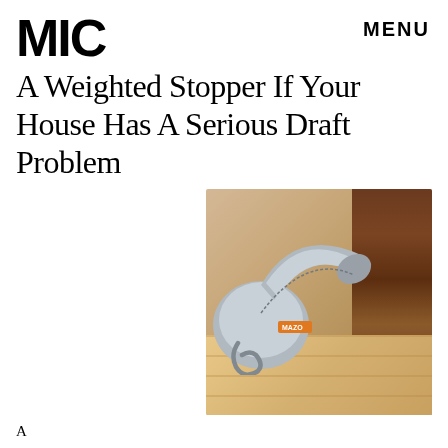MIC
MENU
A Weighted Stopper If Your House Has A Serious Draft Problem
[Figure (photo): A gray weighted door draft stopper (MAZO brand) with a rope handle, bent in a U-shape tucked under a wooden door on a light wood floor]
A